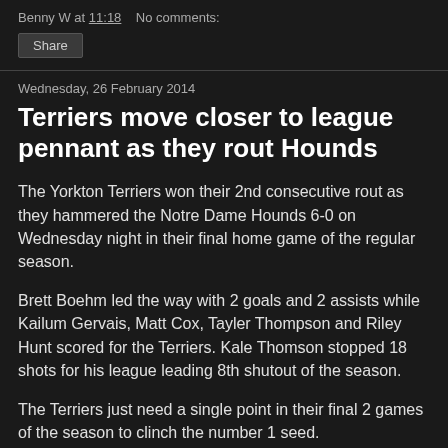Benny W at 11:18   No comments:
Share
Wednesday, 26 February 2014
Terriers move closer to league pennant as they rout Hounds
The Yorkton Terriers won their 2nd consecutive rout as they hammered the Notre Dame Hounds 6-0 on Wednesday night in their final home game of the regular season.
Brett Boehm led the way with 2 goals and 2 assists while Kailum Gervais, Matt Cox, Tayler Thompson and Riley Hunt scored for the Terriers. Kale Thomson stopped 18 shots for his league leading 8th shutout of the season.
The Terriers just need a single point in their final 2 games of the season to clinch the number 1 seed.